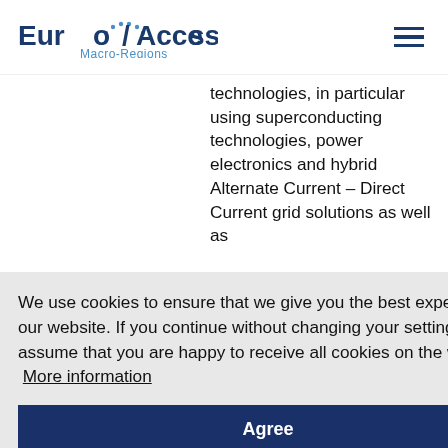EuroAccess Macro-Regions
technologies, in particular using superconducting technologies, power electronics and hybrid Alternate Current – Direct Current grid solutions as well as
We use cookies to ensure that we give you the best experience on our website. If you continue without changing your settings, we'll assume that you are happy to receive all cookies on the website.  More information
Agree
will be particularly important in those